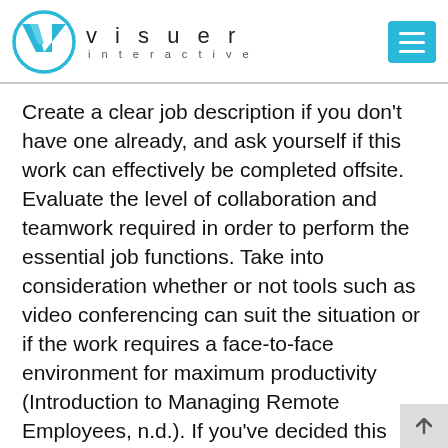[Figure (logo): Visuer Interactive logo: a circular blue outline with a teal V chevron inside, followed by the text 'visuer interactive' in spaced lowercase letters]
Create a clear job description if you don't have one already, and ask yourself if this work can effectively be completed offsite. Evaluate the level of collaboration and teamwork required in order to perform the essential job functions. Take into consideration whether or not tools such as video conferencing can suit the situation or if the work requires a face-to-face environment for maximum productivity (Introduction to Managing Remote Employees, n.d.). If you've decided this role is a good fit for remote work, keep reading!